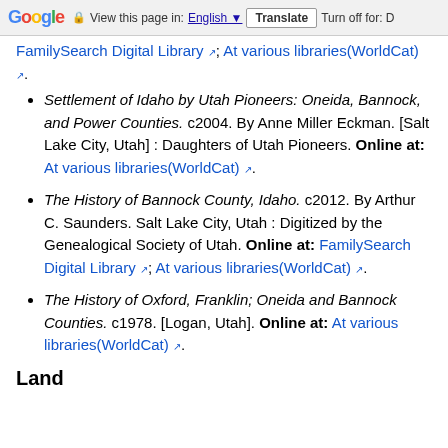Google  View this page in: English [▼]  Translate  Turn off for: D
FamilySearch Digital Library; At various libraries(WorldCat).
Settlement of Idaho by Utah Pioneers: Oneida, Bannock, and Power Counties. c2004. By Anne Miller Eckman. [Salt Lake City, Utah] : Daughters of Utah Pioneers. Online at: At various libraries(WorldCat).
The History of Bannock County, Idaho. c2012. By Arthur C. Saunders. Salt Lake City, Utah : Digitized by the Genealogical Society of Utah. Online at: FamilySearch Digital Library; At various libraries(WorldCat).
The History of Oxford, Franklin; Oneida and Bannock Counties. c1978. [Logan, Utah]. Online at: At various libraries(WorldCat).
Land